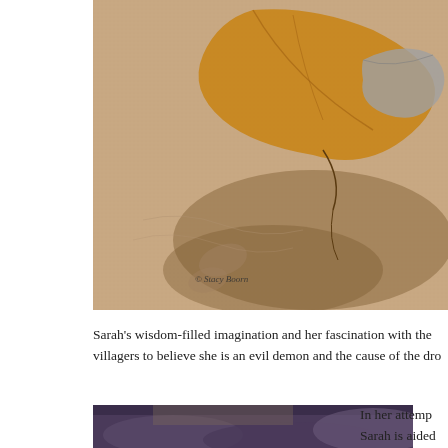[Figure (photo): Close-up photograph of autumn leaves (golden/brown) on wet sandy or muddy ground, with shadows and textures. Watermark reads '© Stacy Boorn' in italic text.]
Sarah's wisdom-filled imagination and her fascination with the villagers to believe she is an evil demon and the cause of the dro
[Figure (photo): Dark moody sky with clouds, partially visible at bottom of page]
In her attemp Sarah is aided and by a spiri